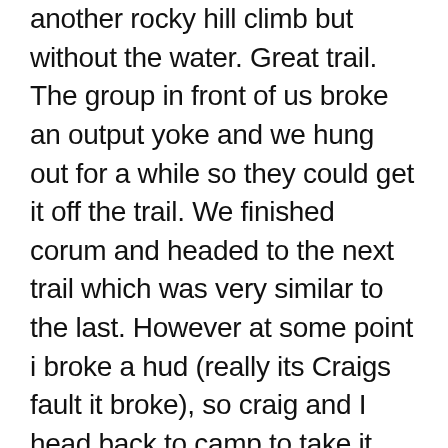another rocky hill climb but without the water. Great trail. The group in front of us broke an output yoke and we hung out for a while so they could get it off the trail. We finished corum and headed to the next trail which was very similar to the last. However at some point i broke a hud (really its Craigs fault it broke), so craig and I head back to camp to take it apart and make a repair. I broke the hub and the inner shaft. We could not get the inner shaft out so I was done. Time for beers and diner. They had a mud pit